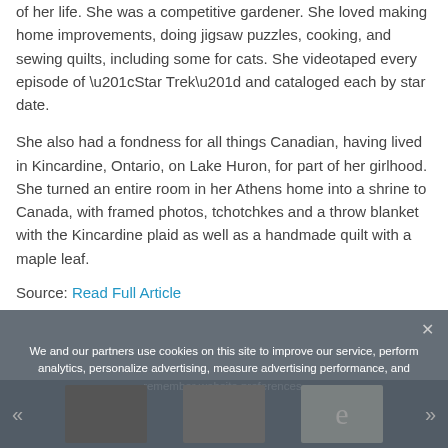of her life. She was a competitive gardener. She loved making home improvements, doing jigsaw puzzles, cooking, and sewing quilts, including some for cats. She videotaped every episode of “Star Trek” and cataloged each by star date.
She also had a fondness for all things Canadian, having lived in Kincardine, Ontario, on Lake Huron, for part of her girlhood. She turned an entire room in her Athens home into a shrine to Canada, with framed photos, tchotchkes and a throw blanket with the Kincardine plaid as well as a handmade quilt with a maple leaf.
Source: Read Full Article
We and our partners use cookies on this site to improve our service, perform analytics, personalize advertising, measure advertising performance, and remember website preferences.
Ok